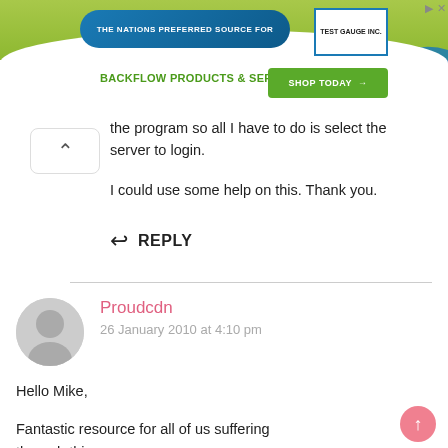[Figure (screenshot): Advertisement banner for Test Gauge Inc. showing 'THE NATIONS PREFERRED SOURCE FOR BACKFLOW PRODUCTS & SERVICES' with a green Shop Today button and decorative wave design]
the program so all I have to do is select the server to login.
I could use some help on this. Thank you.
↩ REPLY
Proudcdn
26 January 2010 at 4:10 pm
Hello Mike,
Fantastic resource for all of us suffering through this crap.
I am stuck on a linux hosting server running